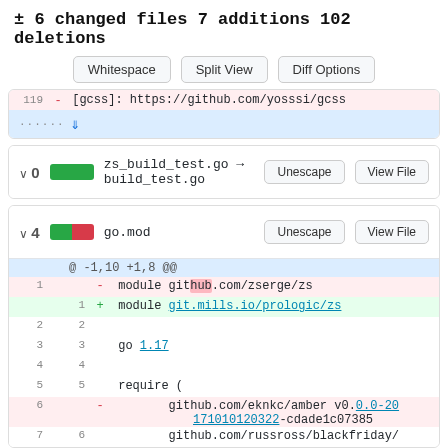± 6 changed files 7 additions 102 deletions
Whitespace | Split View | Diff Options
[Figure (screenshot): Truncated diff snippet showing line 119 with deleted line: - [gcss]: https://github.com/yosssi/gcss, followed by an expand row with down arrow]
[Figure (screenshot): File diff card: 0 changes, green bar, zs_build_test.go → build_test.go, Unescape and View File buttons]
[Figure (screenshot): File diff card: 4 changes, green+red bar, go.mod, Unescape and View File buttons, diff hunk @ -1,10 +1,8 @@, lines: 1 deleted 'module github.com/zserge/zs', 1 added 'module git.mills.io/prologic/zs', lines 2-7 context]